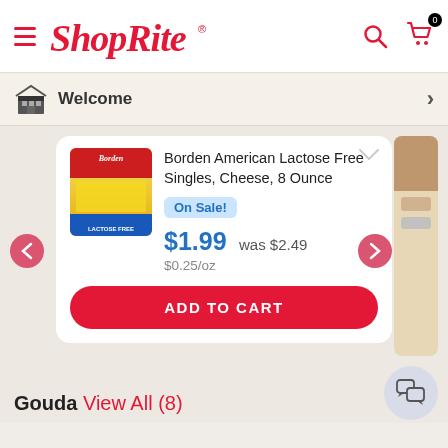ShopRite
Welcome
Borden American Lactose Free Singles, Cheese, 8 Ounce
On Sale!
$1.99  was $2.49
$0.25/oz
ADD TO CART
Gouda View All (8)